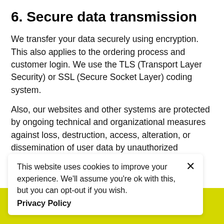6. Secure data transmission
We transfer your data securely using encryption. This also applies to the ordering process and customer login. We use the TLS (Transport Layer Security) or SSL (Secure Socket Layer) coding system.
Also, our websites and other systems are protected by ongoing technical and organizational measures against loss, destruction, access, alteration, or dissemination of user data by unauthorized persons.
This website uses cookies to improve your experience. We'll assume you're ok with this, but you can opt-out if you wish.
Privacy Policy